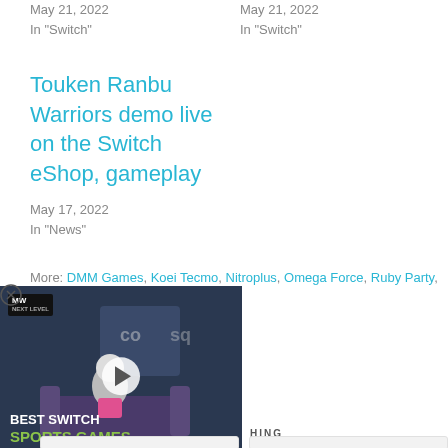May 21, 2022
In "Switch"
May 21, 2022
In "Switch"
Touken Ranbu Warriors demo live on the Switch eShop, gameplay
May 17, 2022
In "News"
More: DMM Games, Koei Tecmo, Nitroplus, Omega Force, Ruby Party, Touken Ranbu Musou
[Figure (screenshot): Video overlay showing a gaming video thumbnail with play button. Text reads 'BEST SWITCH SPORTS GAMES' with a green subheading. MW (Next Level) logo in top left. Scene shows animated characters in a sports/gaming context.]
HING